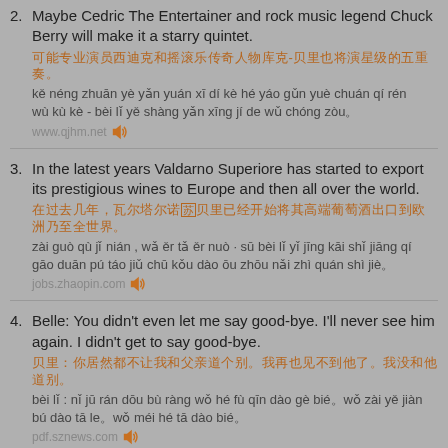2. Maybe Cedric The Entertainer and rock music legend Chuck Berry will make it a starry quintet.
可能专业演员西迪克和摇滚乐传奇人物库克-贝里也将演星级的五重奏。
kě néng zhuān yè yǎn yuán xī dí kè hé yáo gǔn yuè chuán qí rén wù kù kè - bèi lǐ yě shàng yǎn xīng jí de wǔ chóng zòu。
www.qjhm.net
3. In the latest years Valdarno Superiore has started to export its prestigious wines to Europe and then all over the world.
在过去几年，瓦尔塔尔诺·苏贝里已经开始将其高端葡萄酒出口到欧洲乃至全世界。
zài guò qù jǐ nián , wǎ ěr tǎ ěr nuò · sū bèi lǐ yǐ jīng kāi shǐ jiāng qí gāo duān pú táo jiǔ chū kǒu dào ōu zhōu nǎi zhì quán shì jiè。
jobs.zhaopin.com
4. Belle: You didn't even let me say good-bye. I'll never see him again. I didn't get to say good-bye.
贝里：你居然都不让我和父亲道个别。我再也见不到他了。我没和他道别。
bèi lǐ : nǐ jū rán dōu bù ràng wǒ hé fù qīn dào gè bié。wǒ zài yě jiàn bú dào tā le。wǒ méi hé tā dào bié。
pdf.sznews.com